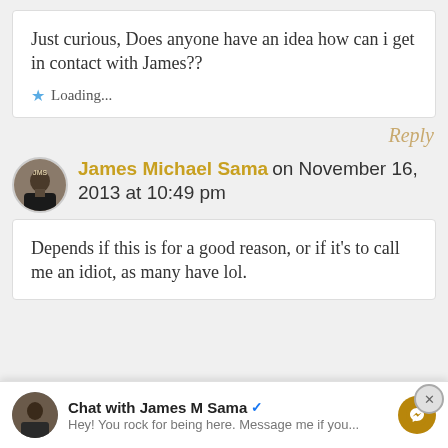Just curious, Does anyone have an idea how can i get in contact with James??
Loading...
Reply
James Michael Sama on November 16, 2013 at 10:49 pm
Depends if this is for a good reason, or if it's to call me an idiot, as many have lol.
Chat with James M Sama — Hey! You rock for being here. Message me if you...